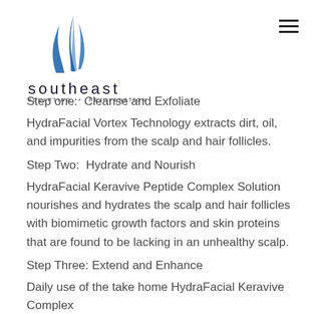[Figure (logo): Southeast Sculpting + Rejuvenation logo with blue feather/flame graphic and text]
Step one:  Cleanse and Exfoliate
HydraFacial Vortex Technology extracts dirt, oil, and impurities from the scalp and hair follicles.
Step Two:  Hydrate and Nourish
HydraFacial Keravive Peptide Complex Solution nourishes and hydrates the scalp and hair follicles with biomimetic growth factors and skin proteins that are found to be lacking in an unhealthy scalp.
Step Three: Extend and Enhance
Daily use of the take home HydraFacial Keravive Complex